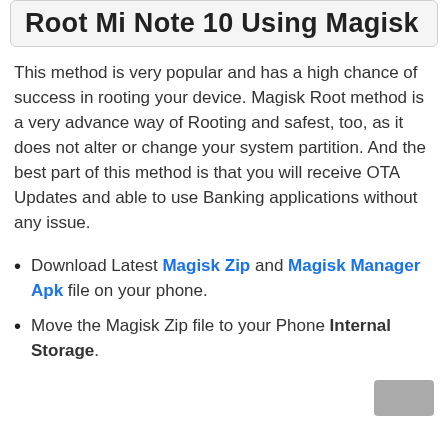Root Mi Note 10 Using Magisk
This method is very popular and has a high chance of success in rooting your device. Magisk Root method is a very advance way of Rooting and safest, too, as it does not alter or change your system partition. And the best part of this method is that you will receive OTA Updates and able to use Banking applications without any issue.
Download Latest Magisk Zip and Magisk Manager Apk file on your phone.
Move the Magisk Zip file to your Phone Internal Storage.